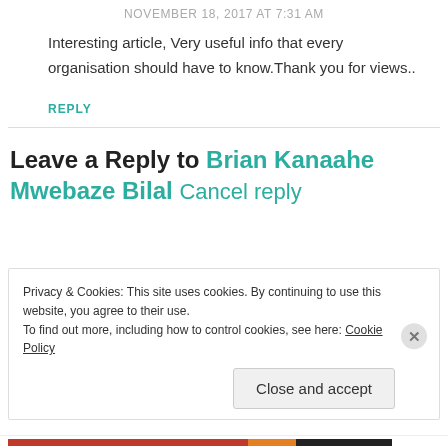NOVEMBER 18, 2017 AT 7:31 AM
Interesting article, Very useful info that every organisation should have to know.Thank you for views..
REPLY
Leave a Reply to Brian Kanaahe Mwebaze Bilal Cancel reply
Privacy & Cookies: This site uses cookies. By continuing to use this website, you agree to their use. To find out more, including how to control cookies, see here: Cookie Policy
Close and accept